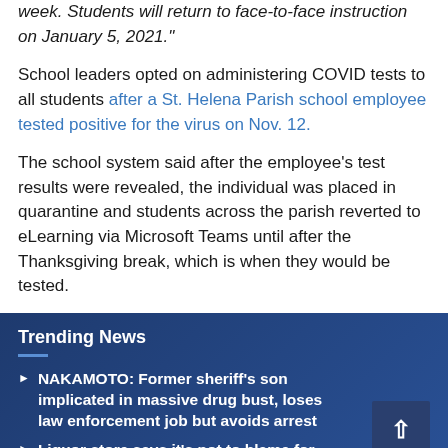week. Students will return to face-to-face instruction on January 5, 2021."
School leaders opted on administering COVID tests to all students after a St. Helena Parish school employee tested positive for the virus on Nov. 12.
The school system said after the employee's test results were revealed, the individual was placed in quarantine and students across the parish reverted to eLearning via Microsoft Teams until after the Thanksgiving break, which is when they would be tested.
Trending News
NAKAMOTO: Former sheriff's son implicated in massive drug bust, loses law enforcement job but avoids arrest
Liquor store says it's not to blame for neighborhood violence as residents call